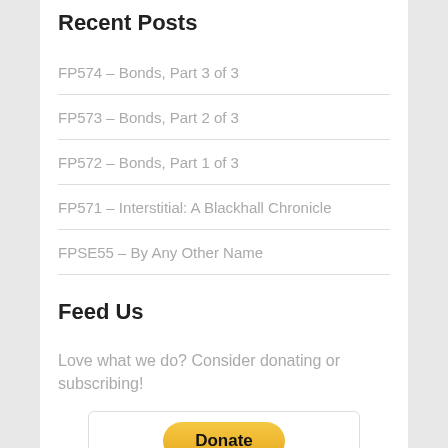Recent Posts
FP574 – Bonds, Part 3 of 3
FP573 – Bonds, Part 2 of 3
FP572 – Bonds, Part 1 of 3
FP571 – Interstitial: A Blackhall Chronicle
FPSE55 – By Any Other Name
Feed Us
Love what we do? Consider donating or subscribing!